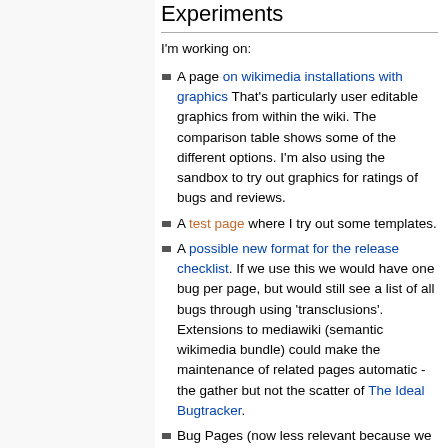Experiments
I'm working on:
A page on wikimedia installations with graphics That's particularly user editable graphics from within the wiki. The comparison table shows some of the different options. I'm also using the sandbox to try out graphics for ratings of bugs and reviews.
A test page where I try out some templates.
A possible new format for the release checklist. If we use this we would have one bug per page, but would still see a list of all bugs through using 'transclusions'. Extensions to mediawiki (semantic wikimedia bundle) could make the maintenance of related pages automatic - the gather but not the scatter of The Ideal Bugtracker.
Bug Pages (now less relevant because we are using bugzilla for bugs):
Top Usability Issues - to capture possible changes in Audacity to